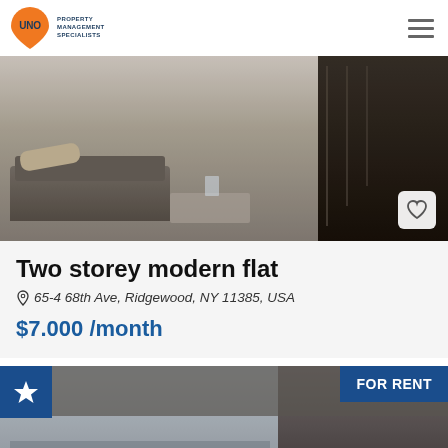UNO Property Management Specialists
[Figure (photo): Interior photo of a modern two-storey flat with grey sofas, glass coffee table, fireplace, and metal staircase railing]
Two storey modern flat
65-4 68th Ave, Ridgewood, NY 11385, USA
$7.000 /month
[Figure (photo): Aerial/high-rise view photo of a modern apartment interior with city skyline visible through floor-to-ceiling windows, with FOR RENT badge]